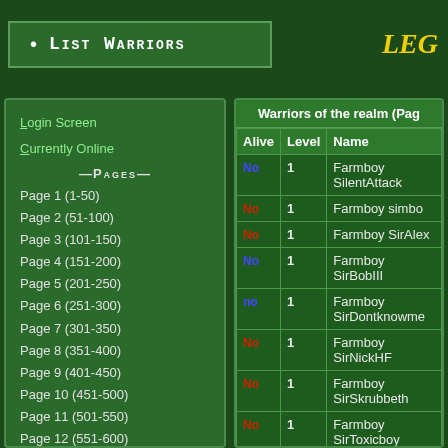• List Warriors
Login Screen
Currently Online
—Pages—
Page 1 (1-50)
Page 2 (51-100)
Page 3 (101-150)
Page 4 (151-200)
Page 5 (201-250)
Page 6 (251-300)
Page 7 (301-350)
Page 8 (351-400)
Page 9 (401-450)
Page 10 (451-500)
Page 11 (501-550)
Page 12 (551-600)
Page 13 (601-650)
Page 14 (651-700)
Page 15 (701-750)
| Alive | Level | Name |
| --- | --- | --- |
| No | 1 | Farmboy SilentAttack |
| No | 1 | Farmboy simbo |
| No | 1 | Farmboy SirAlex |
| No | 1 | Farmboy SirBobIII |
| no | 1 | Farmboy SirDontknowme |
| No | 1 | Farmboy SirNickHF |
| No | 1 | Farmboy SirSkrubbeth |
| No | 1 | Farmboy SirToxicboy |